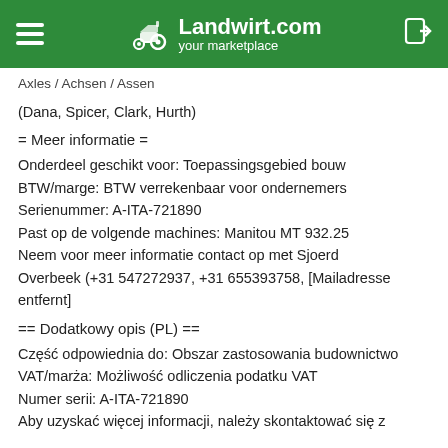Landwirt.com your marketplace
Axles / Achsen / Assen
(Dana, Spicer, Clark, Hurth)
= Meer informatie =
Onderdeel geschikt voor: Toepassingsgebied bouw
BTW/marge: BTW verrekenbaar voor ondernemers
Serienummer: A-ITA-721890
Past op de volgende machines: Manitou MT 932.25
Neem voor meer informatie contact op met Sjoerd Overbeek (+31 547272937, +31 655393758, [Mailadresse entfernt]
== Dodatkowy opis (PL) ==
Część odpowiednia do: Obszar zastosowania budownictwo
VAT/marża: Możliwość odliczenia podatku VAT
Numer serii: A-ITA-721890
Aby uzyskać więcej informacji, należy skontaktować się z